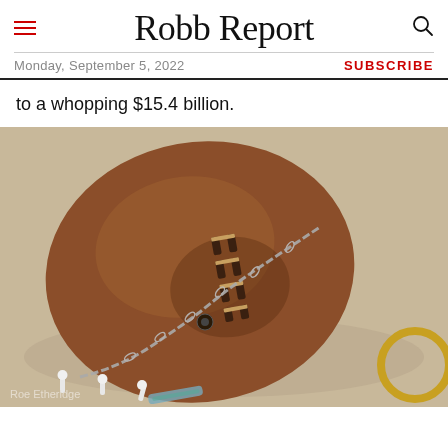Robb Report
Monday, September 5, 2022
SUBSCRIBE
to a whopping $15.4 billion.
[Figure (photo): Close-up photograph of a worn brown leather football with laces, a silver chain, white tees, a small black button detail, and a gold ring, arranged on a neutral beige surface. Photo credit: Roe Etheridge]
Roe Etheridge